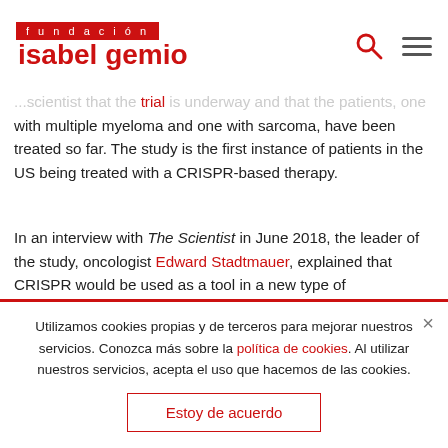fundación isabel gemio
...scientist that the trial is underway and that the patients, one with multiple myeloma and one with sarcoma, have been treated so far. The study is the first instance of patients in the US being treated with a CRISPR-based therapy.
In an interview with The Scientist in June 2018, the leader of the study, oncologist Edward Stadtmauer, explained that CRISPR would be used as a tool in a new type of immunotherapy. His team would filter T cells from the blood of eligible patients with cancer, then use the gene-editing technique to knock out three of the cells' existing receptors
Utilizamos cookies propias y de terceros para mejorar nuestros servicios. Conozca más sobre la política de cookies. Al utilizar nuestros servicios, acepta el uso que hacemos de las cookies.
Estoy de acuerdo